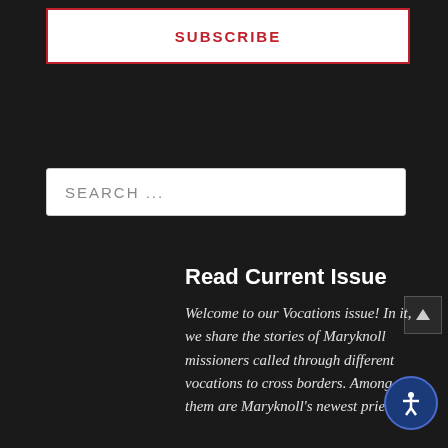SUBSCRIBE
SEARCH ...
Read Current Issue
Welcome to our Vocations issue! In it, we share the stories of Maryknoll missioners called through different vocations to cross borders. Among them are Maryknoll's newest priest wh...